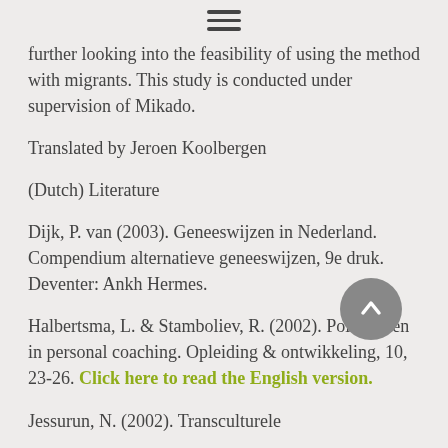≡
further looking into the feasibility of using the method with migrants. This study is conducted under supervision of Mikado.
Translated by Jeroen Koolbergen
(Dutch) Literature
Dijk, P. van (2003). Geneeswijzen in Nederland. Compendium alternatieve geneeswijzen, 9e druk. Deventer: Ankh Hermes.
Halbertsma, L. & Stamboliev, R. (2002). Polariteiten in personal coaching. Opleiding & ontwikkeling, 10, 23-26. Click here to read the English version.
Jessurun, N. (2002). Transculturele